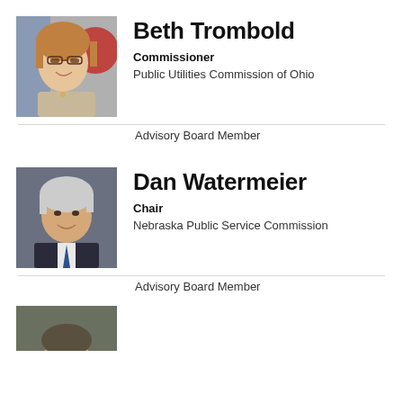[Figure (photo): Headshot of Beth Trombold, a woman with red/blonde hair and glasses, smiling, with US and Ohio flags in background]
Beth Trombold
Commissioner
Public Utilities Commission of Ohio
Advisory Board Member
[Figure (photo): Headshot of Dan Watermeier, an older white-haired man in a dark suit with blue tie, smiling]
Dan Watermeier
Chair
Nebraska Public Service Commission
Advisory Board Member
[Figure (photo): Partial headshot of a third person, cropped at bottom of page]